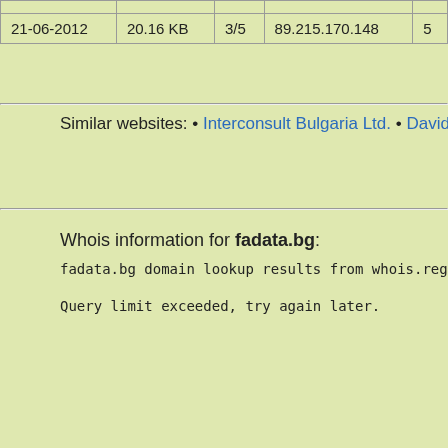| Date | Size | Score | IP | Num |
| --- | --- | --- | --- | --- |
| 21-06-2012 | 20.16 KB | 3/5 | 89.215.170.148 | 5 |
Similar websites: • Interconsult Bulgaria Ltd. • David Holding C…
Whois information for fadata.bg:
fadata.bg domain lookup results from whois.register.bg
Query limit exceeded, try again later.